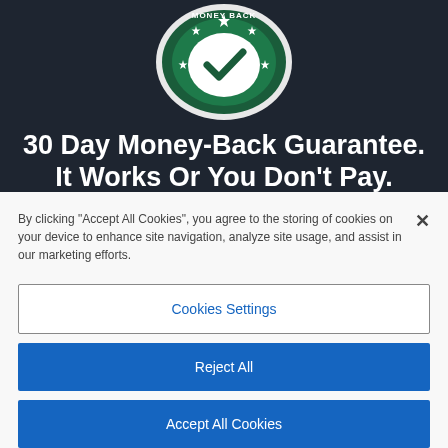[Figure (illustration): A circular badge/seal with dark green and white colors showing '30 Day Money Back' text with a checkmark and stars, partially cropped at top]
30 Day Money-Back Guarantee. It Works Or You Don't Pay.
By clicking "Accept All Cookies", you agree to the storing of cookies on your device to enhance site navigation, analyze site usage, and assist in our marketing efforts.
Cookies Settings
Reject All
Accept All Cookies